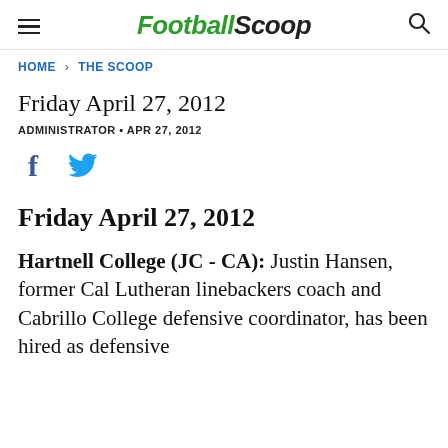FootballScoop
HOME > THE SCOOP
Friday April 27, 2012
ADMINISTRATOR • APR 27, 2012
[Figure (other): Facebook and Twitter social share icons]
Friday April 27, 2012
Hartnell College (JC - CA): Justin Hansen, former Cal Lutheran linebackers coach and Cabrillo College defensive coordinator, has been hired as defensive